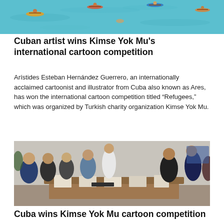[Figure (photo): Aerial or overhead view of people kayaking and swimming in turquoise blue water]
Cuban artist wins Kimse Yok Mu's international cartoon competition
Arístides Esteban Hernández Guerrero, an internationally acclaimed cartoonist and illustrator from Cuba also known as Ares, has won the international cartoon competition titled “Refugees,” which was organized by Turkish charity organization Kimse Yok Mu.
[Figure (photo): Group of people standing around a long wooden table looking at cartoon artworks laid out on the table, in an indoor meeting room]
Cuba wins Kimse Yok Mu cartoon competition